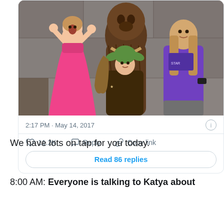[Figure (photo): A photo showing two children and an adult posing with Chewbacca at what appears to be a Star Wars themed event. A girl in a pink princess dress holds her hands up to her face in surprise, a boy wears a Yoda hat and brown robe, and an adult in a purple t-shirt stands next to the Chewbacca character.]
2:17 PM · May 14, 2017
11.2K   Reply   Copy link
Read 86 replies
We have lots on tap for you today.
8:00 AM: Everyone is talking to Katya about